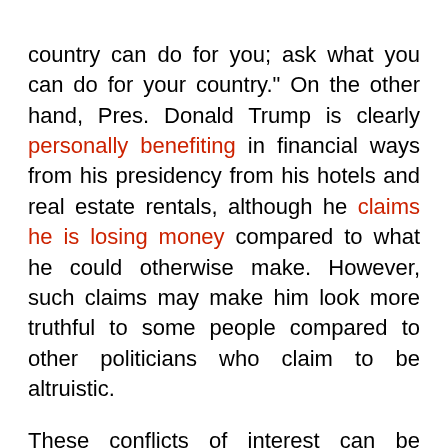country can do for you; ask what you can do for your country." On the other hand, Pres. Donald Trump is clearly personally benefiting in financial ways from his presidency from his hotels and real estate rentals, although he claims he is losing money compared to what he could otherwise make. However, such claims may make him look more truthful to some people compared to other politicians who claim to be altruistic.
These conflicts of interest can be troubling for dictators or absolute monarchs. To return to Game of Thrones, the idea of giving absolute power to a monarch with personal goals and no oversight can be dangerous. This is the source of discomfort for aristocrats about a ruler like Dany, who may make choices based on her personal goals and preferences that are binding on the entire society. Dany would have to give an indication that she could